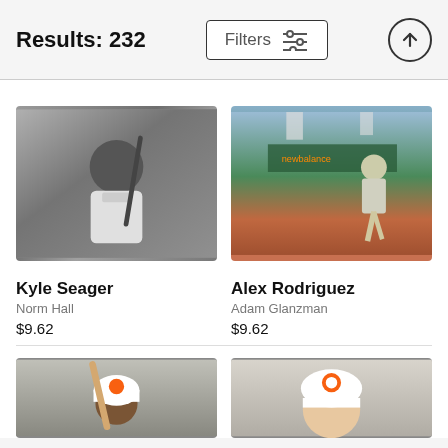Results: 232
Filters
[Figure (photo): Kyle Seager in Seattle Mariners uniform holding a baseball bat, portrait photo on gray background]
[Figure (photo): Alex Rodriguez walking on baseball field at stadium (appears to be Fenway Park) with crowd in background]
Kyle Seager
Norm Hall
$9.62
Alex Rodriguez
Adam Glanzman
$9.62
[Figure (photo): Baseball player (Baltimore Orioles) holding bat, portrait photo, partially cropped at bottom]
[Figure (photo): Baseball player (Baltimore Orioles) closeup portrait, partially cropped at bottom]